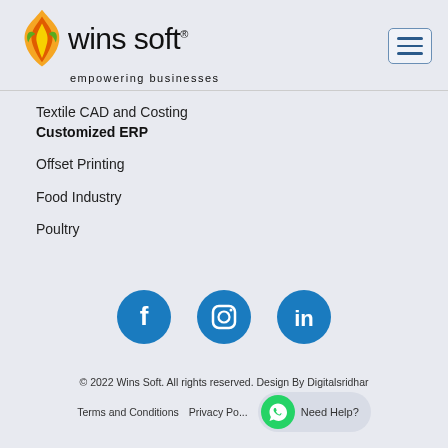[Figure (logo): Wins Soft logo with flame icon and tagline 'empowering businesses']
Textile CAD and Costing
Customized ERP
Offset Printing
Food Industry
Poultry
[Figure (illustration): Three social media icons: Facebook, Instagram, LinkedIn — teal/blue circles]
© 2022 Wins Soft. All rights reserved. Design By Digitalsridhar
Terms and Conditions   Privacy Po...   Need Help?